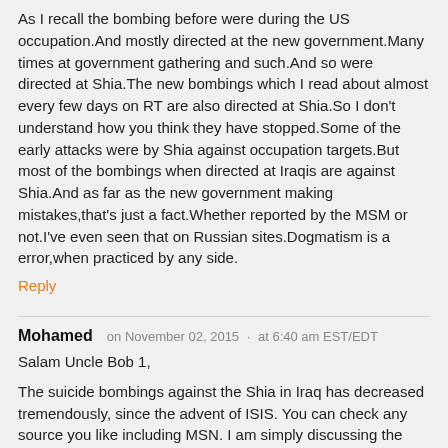As I recall the bombing before were during the US occupation.And mostly directed at the new government.Many times at government gathering and such.And so were directed at Shia.The new bombings which I read about almost every few days on RT are also directed at Shia.So I don't understand how you think they have stopped.Some of the early attacks were by Shia against occupation targets.But most of the bombings when directed at Iraqis are against Shia.And as far as the new government making mistakes,that's just a fact.Whether reported by the MSM or not.I've even seen that on Russian sites.Dogmatism is a error,when practiced by any side.
Reply
Mohamed  on November 02, 2015 · at 6:40 am EST/EDT
Salam Uncle Bob 1,
The suicide bombings against the Shia in Iraq has decreased tremendously, since the advent of ISIS. You can check any source you like including MSN. I am simply discussing the suicide bombings against the CIVILIANS.
There is no difference in policies between the old Prime Minister